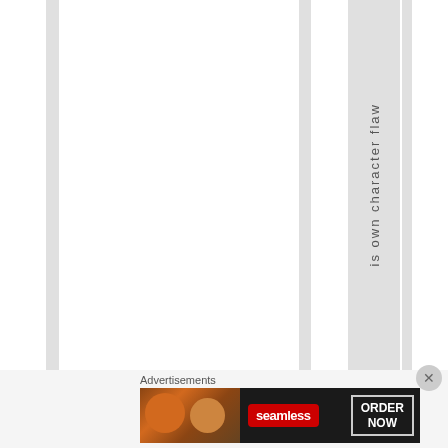[Figure (other): Web page screenshot showing a multi-column layout with gray gutters and white column areas. A vertical text reading 'is own character flaw' runs down one of the columns rotated 90 degrees.]
Advertisements
[Figure (other): Seamless food delivery advertisement banner showing pizza images on the left, a red Seamless logo badge in the center, and an 'ORDER NOW' button outline on the right, all on a dark background.]